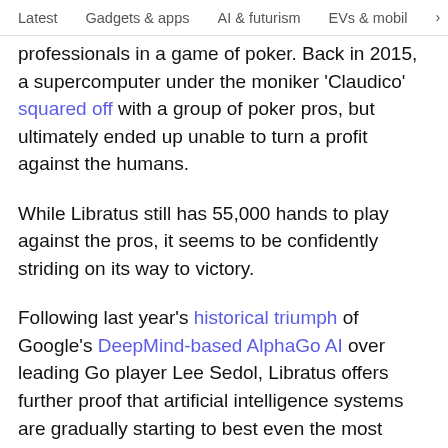Latest   Gadgets & apps   AI & futurism   EVs & mobil ›
professionals in a game of poker. Back in 2015, a supercomputer under the moniker 'Claudico' squared off with a group of poker pros, but ultimately ended up unable to turn a profit against the humans.
While Libratus still has 55,000 hands to play against the pros, it seems to be confidently striding on its way to victory.
Following last year's historical triumph of Google's DeepMind-based AlphaGo AI over leading Go player Lee Sedol, Libratus offers further proof that artificial intelligence systems are gradually starting to best even the most talented human players.